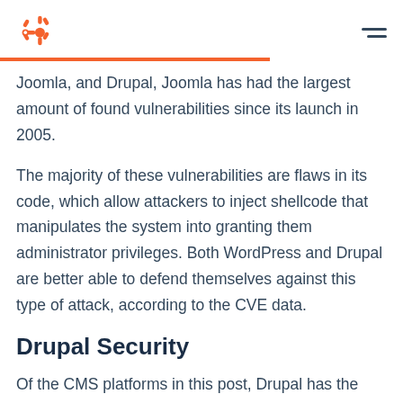HubSpot logo and navigation
Joomla, and Drupal, Joomla has had the largest amount of found vulnerabilities since its launch in 2005.
The majority of these vulnerabilities are flaws in its code, which allow attackers to inject shellcode that manipulates the system into granting them administrator privileges. Both WordPress and Drupal are better able to defend themselves against this type of attack, according to the CVE data.
Drupal Security
Of the CMS platforms in this post, Drupal has the highest reputation for security. It has a group of 40 community members dedicated to improving and